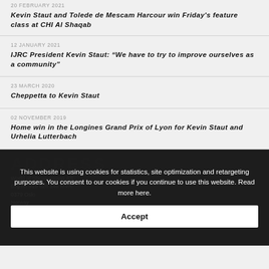20 FEBRUARY 2021
Kevin Staut and Tolede de Mescam Harcour win Friday's feature class at CHI Al Shaqab
12 JANUARY 2021
IJRC President Kevin Staut: “We have to try to improve ourselves as a community”
23 MARCH 2020
Cheppetta to Kevin Staut
02 NOVEMBER 2019
Home win in the Longines Grand Prix of Lyon for Kevin Staut and Urhelia Lutterbach
ADDRESS
World of Showjumping AS
Org nr. 916 628 145 MVA
0379 Oslo
Norway
This website is using cookies for statistics, site optimization and retargeting purposes. You consent to our cookies if you continue to use this website. Read more here.
Accept